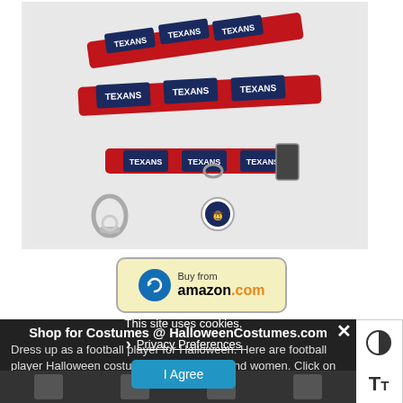[Figure (photo): Houston Texans NFL dog leash and collar set with matching charm tag, red with navy and white Texans logo pattern]
[Figure (other): Buy from amazon.com button with blue circular arrow logo]
[Figure (other): Accessibility contrast toggle button]
[Figure (other): Accessibility text size toggle button]
Shop for Costumes @ HalloweenCostumes.com
This site uses cookies.
Dress up as a football player for Halloween. Here are football player Halloween costumes for kids, men and women. Click on the images for more details or to order.
Privacy Preferences
I Agree